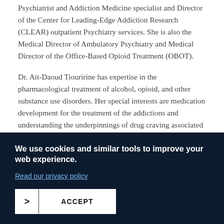Psychiatrist and Addiction Medicine specialist and Director of the Center for Leading-Edge Addiction Research (CLEAR) outpatient Psychiatry services. She is also the Medical Director of Ambulatory Psychiatry and Medical Director of the Office-Based Opioid Treatment (OBOT).
Dr. Ait-Daoud Tiouririne has expertise in the pharmacological treatment of alcohol, opioid, and other substance use disorders. Her special interests are medication development for the treatment of the addictions and understanding the underpinnings of drug craving associated with treatment response. She sees patients privately and with residents within the division of outpatient psychiatry, and also dedicates her time in teaching resident,
We use cookies and similar tools to improve your web experience.
Read our privacy policy
ACCEPT